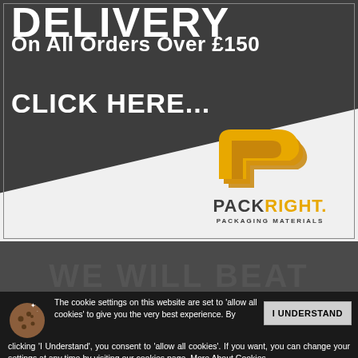DELIVERY
On All Orders Over £150
CLICK HERE...
[Figure (logo): PackRight Packaging Materials logo — stylized yellow/gold layered P shape above the text PACKRIGHT. PACKAGING MATERIALS]
WE WILL BEAT
[Figure (illustration): Cookie icon — dark circle with brown cookie dots and sparkles]
The cookie settings on this website are set to 'allow all cookies' to give you the very best experience. By clicking 'I Understand', you consent to 'allow all cookies'. If you want, you can change your settings at any time by visiting our cookies page. More About Cookies